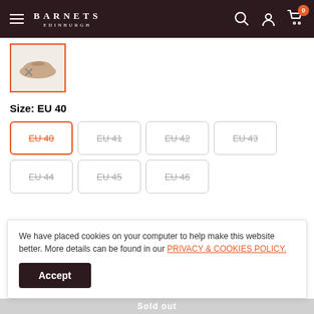BARNETS EDINBURGH
[Figure (photo): Thumbnail of a beige/tan loafer shoe with orange border, selected state]
Size: EU 40
EU 40 (selected, strikethrough)
EU 41 (strikethrough)
EU 42 (strikethrough)
EU 43 (strikethrough)
EU 44 (strikethrough)
EU 45 (strikethrough)
EU 46 (strikethrough)
We have placed cookies on your computer to help make this website better. More details can be found in our PRIVACY & COOKIES POLICY.
Accept
Sold out